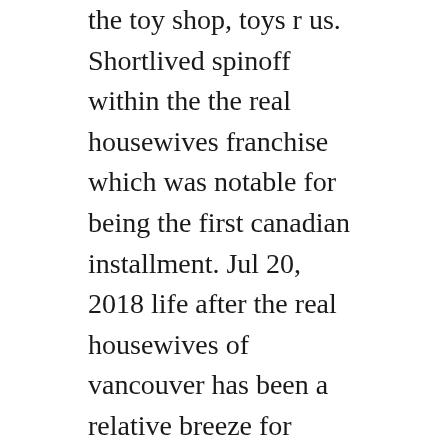the toy shop, toys r us. Shortlived spinoff within the the real housewives franchise which was notable for being the first canadian installment. Jul 20, 2018 life after the real housewives of vancouver has been a relative breeze for negus, who got caught up in the drama of working on a tv series that she believes fuelled her anxiety.
The columbian beauty shared the news with her fans via instagram. Sep 21, 2014 this is my fanmade intro for rhov season 3. It is the first canadian installment of the real housewives franchise. The real housewives of